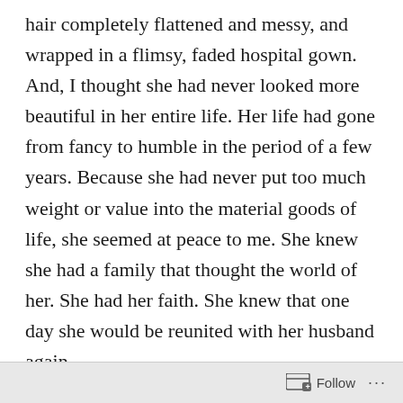hair completely flattened and messy, and wrapped in a flimsy, faded hospital gown.  And, I thought she had never looked more beautiful in her entire life.  Her life had gone from fancy to humble in the period of a few years.  Because she had never put too much weight or value into the material goods of life,  she seemed at peace to me.  She knew she had a family that thought the world of her.  She had her faith.  She knew that one day she would be reunited with her husband again.

I can never thank this sweet couple enough for the deep lessons they've taught me in life through their actions.   When I'm at the end of my life, I pray that I
Follow ···